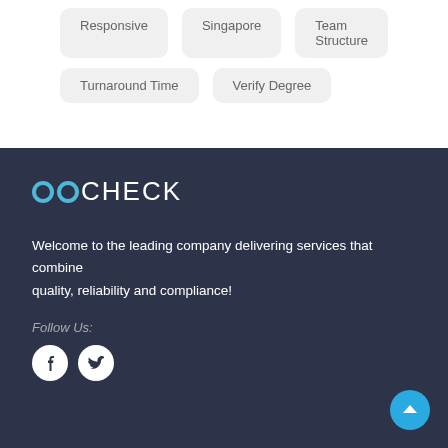Responsive
Singapore
Team Structure
Turnaround Time
Verify Degree
[Figure (logo): eeCheck logo with two circular 'e' characters in teal and the word CHECK in white uppercase letters]
Welcome to the leading company delivering services that combine quality, reliability and compliance!
Follow Us:
[Figure (illustration): Facebook and Twitter social media icons as white circles with dark icons, plus a teal scroll-to-top button in the bottom right corner]